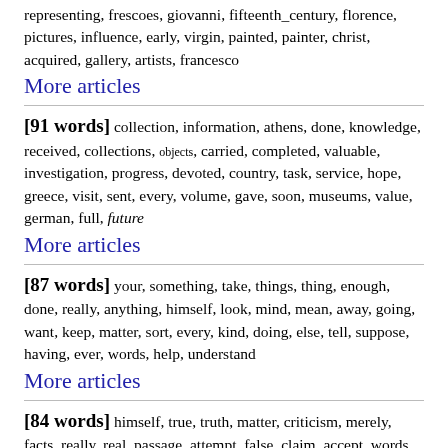representing, frescoes, giovanni, fifteenth_century, florence, pictures, influence, early, virgin, painted, painter, christ, acquired, gallery, artists, francesco
More articles
[91 words] collection, information, athens, done, knowledge, received, collections, objects, carried, completed, valuable, investigation, progress, devoted, country, task, service, hope, greece, visit, sent, every, volume, gave, soon, museums, value, german, full, future
More articles
[87 words] your, something, take, things, thing, enough, done, really, anything, himself, look, mind, mean, away, going, want, keep, matter, sort, every, kind, doing, else, tell, suppose, having, ever, words, help, understand
More articles
[84 words] himself, true, truth, matter, criticism, merely, facts, really, real, passage, attempt, false, claim, accept, words, knowledge, belief, enough, regard